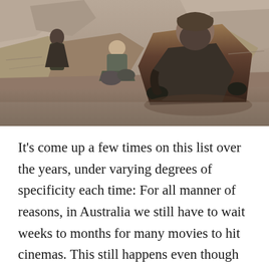[Figure (photo): A film still showing figures in desert/rocky terrain wearing rugged cloaks and tactical gear, appearing to be from the movie Dune. A large bearded man in a brown cloak crouches in the foreground, with other figures visible in the background among sandy rock formations.]
It's come up a few times on this list over the years, under varying degrees of specificity each time: For all manner of reasons, in Australia we still have to wait weeks to months for many movies to hit cinemas. This still happens even though such a problem has been long-gone in